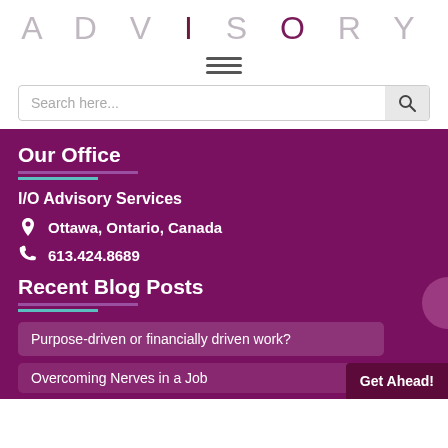ADVISORY
[Figure (other): Hamburger menu icon (three horizontal lines)]
Search here...
Our Office
I/O Advisory Services
Ottawa, Ontario, Canada
613.424.8689
Recent Blog Posts
Purpose-driven or financially driven work?
Get Ahead!
Overcoming Nerves in a Job...